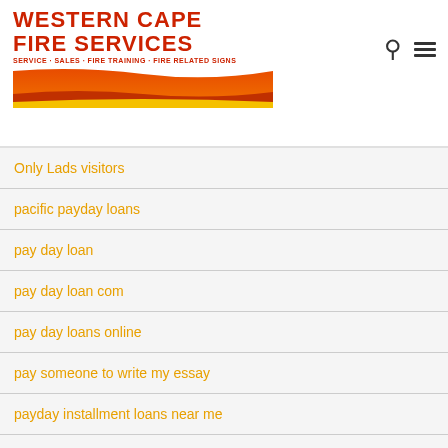WESTERN CAPE FIRE SERVICES - SERVICE · SALES · FIRE TRAINING · FIRE RELATED SIGNS
Only Lads visitors
pacific payday loans
pay day loan
pay day loan com
pay day loans online
pay someone to write my essay
payday installment loans near me
payday loan now online